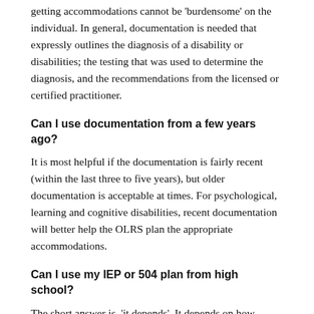getting accommodations cannot be 'burdensome' on the individual. In general, documentation is needed that expressly outlines the diagnosis of a disability or disabilities; the testing that was used to determine the diagnosis, and the recommendations from the licensed or certified practitioner.
Can I use documentation from a few years ago?
It is most helpful if the documentation is fairly recent (within the last three to five years), but older documentation is acceptable at times. For psychological, learning and cognitive disabilities, recent documentation will better help the OLRS plan the appropriate accommodations.
Can I use my IEP or 504 plan from high school?
The short answer is, 'it depends'. It depends on how thorough the original documentation was. 504 Plans often